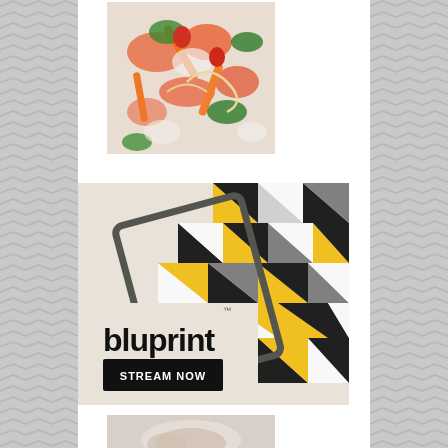[Figure (photo): Close-up photo of a colorful seafood and vegetable dish with shrimp, carrots, green herbs, and various colorful ingredients]
[Figure (photo): Bluprint advertisement showing a geometric patterned item with triangles in yellow, black, white and grey colors, with text 'bluprint' and a button 'STREAM NOW' on a beige background]
[Figure (photo): Partially visible bottom image, cropped at page edge]